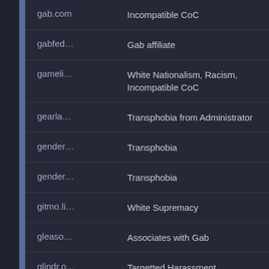| Domain | Reason |
| --- | --- |
| gab.com | Incompatible CoC |
| gabfed... | Gab affiliate |
| gameli... | White Nationalism, Racism, Incompatible CoC |
| gearla... | Transphobia from Administrator |
| gender... | Transphobia |
| gender... | Transphobia |
| gitmo.li... | White Supremacy |
| gleaso... | Associates with Gab |
| glindr.o... | Targetted Harassment |
| glittersl... | Incompatible CoC |